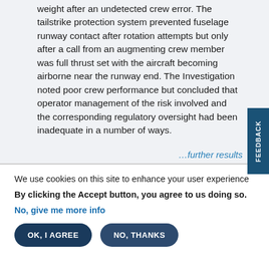weight after an undetected crew error. The tailstrike protection system prevented fuselage runway contact after rotation attempts but only after a call from an augmenting crew member was full thrust set with the aircraft becoming airborne near the runway end. The Investigation noted poor crew performance but concluded that operator management of the risk involved and the corresponding regulatory oversight had been inadequate in a number of ways.
…further results
We use cookies on this site to enhance your user experience
By clicking the Accept button, you agree to us doing so.
No, give me more info
OK, I AGREE
NO, THANKS